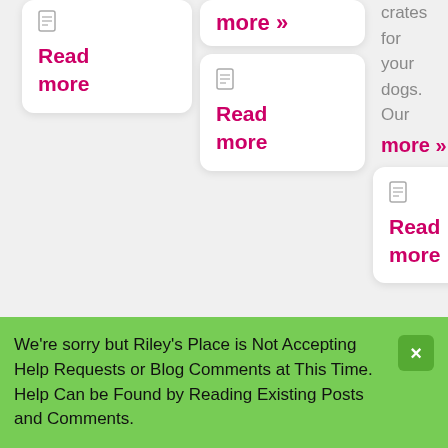[Figure (screenshot): Website screenshot showing card UI with 'Read more' links in three columns, image thumbnail grid with dog crate, fireworks, medicine bottle, and dog walking photos, and a green notification banner at the bottom]
Read more »
Read more
Read more »
Read more
crates for your dogs. Our more »
Read more
Read more
Damn
We're sorry but Riley's Place is Not Accepting Help Requests or Blog Comments at This Time. Help Can be Found by Reading Existing Posts and Comments.